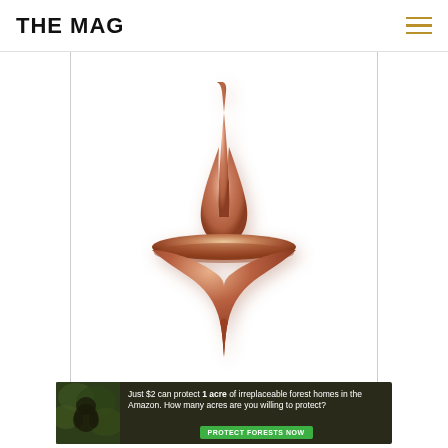THE MAG
[Figure (photo): A copper/rose-gold metallic spinning top with a four-pointed star shape — pointed top stem, wide flat disc rim in the middle, and a pointed bottom tip. Shot on a white background.]
[Figure (infographic): Advertisement banner: dark forest background with a gorilla/animal image on the left. Text reads: 'Just $2 can protect 1 acre of irreplaceable forest homes in the Amazon. How many acres are you willing to protect?' with a green 'PROTECT FORESTS NOW' button.]